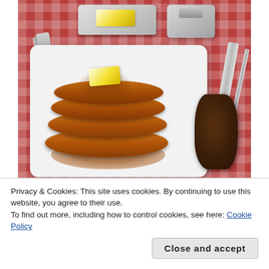[Figure (photo): Photo of a stack of golden-brown pancakes topped with a pat of butter and syrup on a white square plate, served with a sausage patty. A butter dish with butter and a spatula are visible in the background on a red checkered tablecloth, along with a fork and knife.]
Privacy & Cookies: This site uses cookies. By continuing to use this website, you agree to their use.
To find out more, including how to control cookies, see here: Cookie Policy
Close and accept
Light, fluffy and not dry or grainy like a lot of